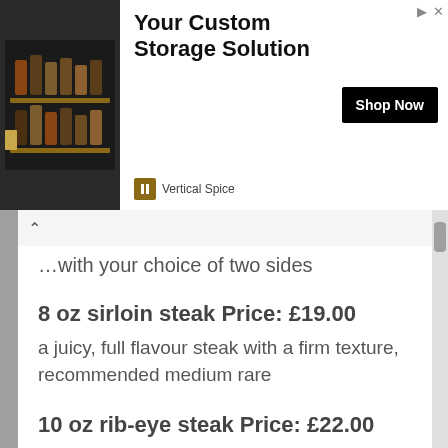[Figure (screenshot): Advertisement banner for Vertical Spice custom storage solution with product image, 'Shop Now' button, and brand name]
with your choice of two sides
8 oz sirloin steak Price: £19.00
a juicy, full flavour steak with a firm texture, recommended medium rare
10 oz rib-eye steak Price: £22.00
well marbled and intensely flavoured, recommended medium
7 oz fillet steak Price: £24.50